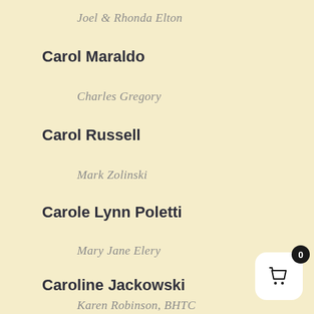Joel & Rhonda Elton
Carol Maraldo
Charles Gregory
Carol Russell
Mark Zolinski
Carole Lynn Poletti
Mary Jane Elery
Caroline Jackowski
Karen Robinson, BHTC